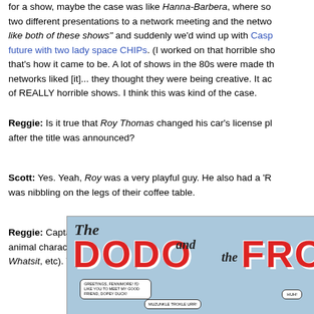for a show, maybe the case was like Hanna-Barbera, where someone brought two different presentations to a network meeting and the network said "we like both of these shows" and suddenly we'd wind up with Casper in the future with two lady space CHIPs. (I worked on that horrible show, and that's how it came to be. A lot of shows in the 80s were made that way – networks liked [it]... they thought they were being creative. It actually led to a lot of REALLY horrible shows. I think this was kind of the case.
Reggie: Is it true that Roy Thomas changed his car's license plate after the title was announced?
Scott: Yes. Yeah, Roy was a very playful guy. He also had a 'Rover' that was nibbling on the legs of their coffee table.
Reggie: Captain Carrot was also meant to unite all of the licensed funny-animal characters of the past (ex: Peter Porkchops, Dodo and the Frog, Wiley Whatsit, etc). Why did the funny-animal comic start to die in popularity?
[Figure (illustration): Comic book cover or panel showing 'The Dodo and the Frog' title in large red letters against a light blue background, with speech bubbles containing character dialogue]